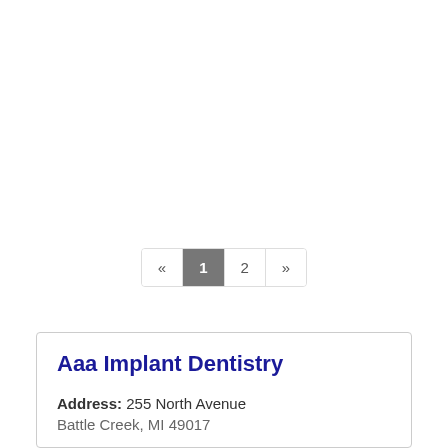« 1 2 »
Aaa Implant Dentistry
Address: 255 North Avenue
Battle Creek, MI 49017
Phone: (269) 288-2889
» More Info